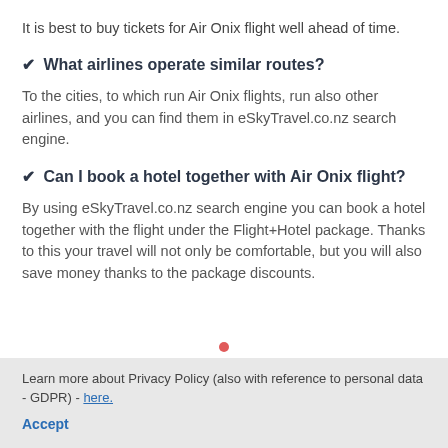It is best to buy tickets for Air Onix flight well ahead of time.
✔ What airlines operate similar routes?
To the cities, to which run Air Onix flights, run also other airlines, and you can find them in eSkyTravel.co.nz search engine.
✔ Can I book a hotel together with Air Onix flight?
By using eSkyTravel.co.nz search engine you can book a hotel together with the flight under the Flight+Hotel package. Thanks to this your travel will not only be comfortable, but you will also save money thanks to the package discounts.
Learn more about Privacy Policy (also with reference to personal data - GDPR) - here. Accept